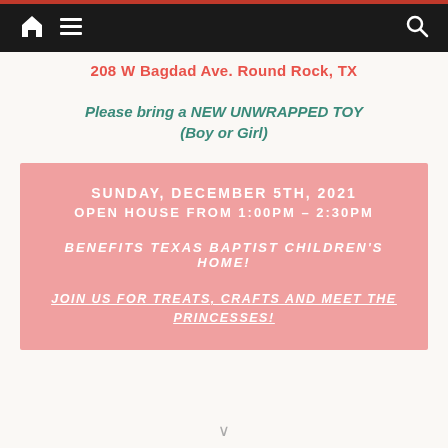208 W Bagdad Ave. Round Rock, TX
Please bring a NEW UNWRAPPED TOY (Boy or Girl)
SUNDAY, DECEMBER 5TH, 2021
OPEN HOUSE FROM 1:00PM – 2:30PM

BENEFITS TEXAS BAPTIST CHILDREN'S HOME!

JOIN US FOR TREATS, CRAFTS AND MEET THE PRINCESSES!